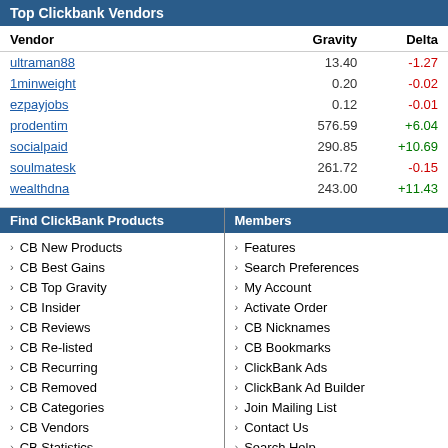Top Clickbank Vendors
| Vendor | Gravity | Delta |
| --- | --- | --- |
| ultraman88 | 13.40 | -1.27 |
| 1minweight | 0.20 | -0.02 |
| ezpayjobs | 0.12 | -0.01 |
| prodentim | 576.59 | +6.04 |
| socialpaid | 290.85 | +10.69 |
| soulmatesk | 261.72 | -0.15 |
| wealthdna | 243.00 | +11.43 |
Find ClickBank Products
Members
CB New Products
CB Best Gains
CB Top Gravity
CB Insider
CB Reviews
CB Re-listed
CB Recurring
CB Removed
CB Categories
CB Vendors
CB Statistics
CB Payouts
CB RSS Feeds
Features
Search Preferences
My Account
Activate Order
CB Nicknames
CB Bookmarks
ClickBank Ads
ClickBank Ad Builder
Join Mailing List
Contact Us
Search Help